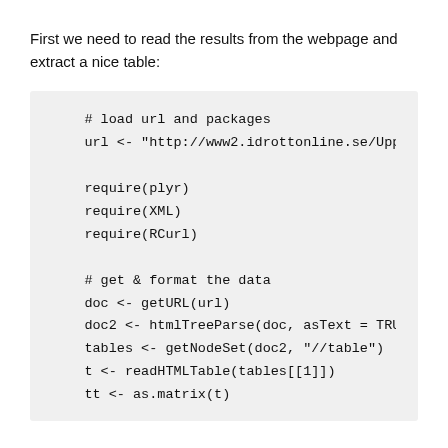First we need to read the results from the webpage and extract a nice table:
# load url and packages
url <- "http://www2.idrottonline.se/Uppsa

require(plyr)
require(XML)
require(RCurl)

# get & format the data
doc <- getURL(url)
doc2 <- htmlTreeParse(doc, asText = TRUE,
tables <- getNodeSet(doc2, "//table")
t <- readHTMLTable(tables[[1]])
tt <- as.matrix(t)